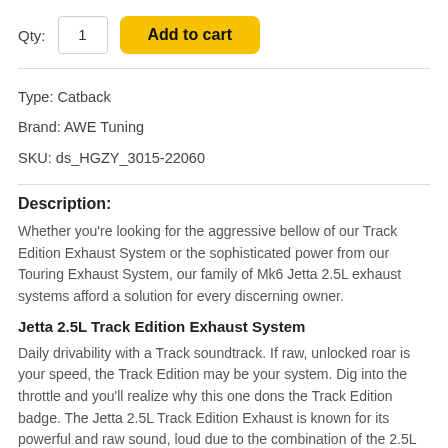Qty: 1  Add to cart
Type: Catback
Brand: AWE Tuning
SKU: ds_HGZY_3015-22060
Description:
Whether you're looking for the aggressive bellow of our Track Edition Exhaust System or the sophisticated power from our Touring Exhaust System, our family of Mk6 Jetta 2.5L exhaust systems afford a solution for every discerning owner.
Jetta 2.5L Track Edition Exhaust System
Daily drivability with a Track soundtrack. If raw, unlocked roar is your speed, the Track Edition may be your system. Dig into the throttle and you'll realize why this one dons the Track Edition badge. The Jetta 2.5L Track Edition Exhaust is known for its powerful and raw sound, loud due to the combination of the 2.5L